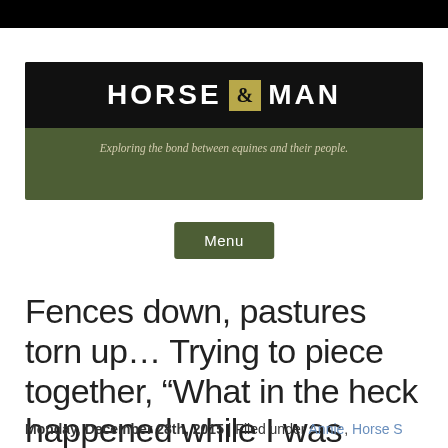[Figure (logo): Horse & Man blog logo with dark olive green background, black band containing white bold text 'HORSE & MAN' with ampersand in a gold/olive box, and italic tagline 'Exploring the bond between equines and their people.']
Menu
Fences down, pastures torn up… Trying to piece together, “What in the heck happened while I was gone?!” Annie? Shiva?
Monday, December 28th, 2015 | Filed under Annie, Horse S...